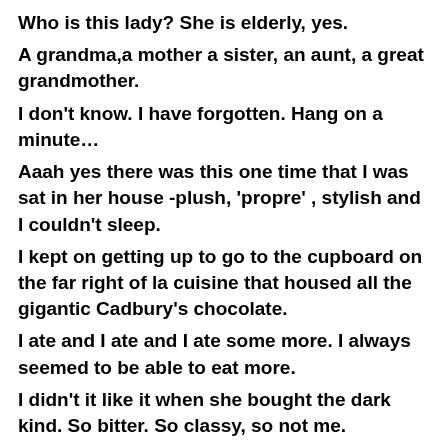Who is this lady? She is elderly, yes.
A grandma,a mother a sister, an aunt, a great grandmother.
I don't know. I have forgotten. Hang on a minute…
Aaah yes there was this one time that I was sat in her house -plush, 'propre' , stylish and I couldn't sleep.
I kept on getting up to go to the cupboard on the far right of la cuisine that housed all the gigantic Cadbury's chocolate.
I ate and I ate and I ate some more. I always seemed to be able to eat more.
I didn't it like it when she bought the dark kind. So bitter. So classy, so not me.
But back to la cuisine.
Footsteps pander lightly behind me. I turn and look around and I look into the eyes of a lady with pure